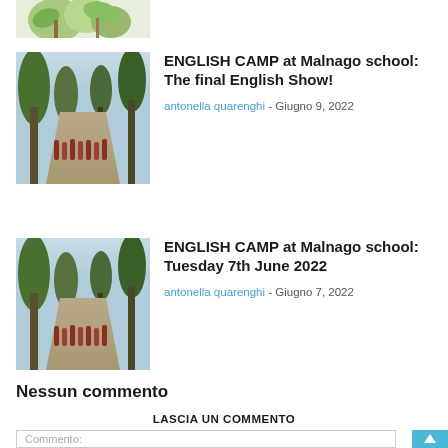[Figure (photo): Partial view of a decorative image with green leaves on white background, cropped at top]
ENGLISH CAMP at Malnago school: The final English Show!
antonella quarenghi - Giugno 9, 2022
[Figure (photo): Children walking in a line along a tree-lined path, English Camp at Malnago school]
ENGLISH CAMP at Malnago school: Tuesday 7th June 2022
antonella quarenghi - Giugno 7, 2022
[Figure (photo): Children walking in a line along a tree-lined path, English Camp at Malnago school]
Nessun commento
LASCIA UN COMMENTO
Commento: